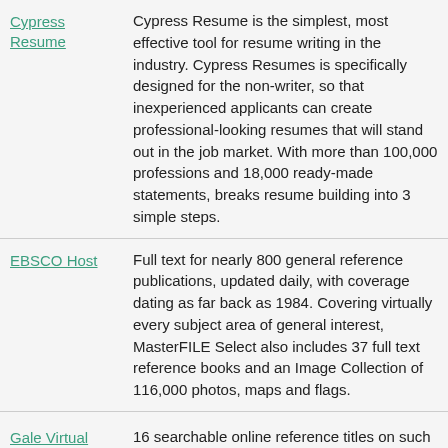Cypress Resume | Cypress Resume is the simplest, most effective tool for resume writing in the industry. Cypress Resumes is specifically designed for the non-writer, so that inexperienced applicants can create professional-looking resumes that will stand out in the job market. With more than 100,000 professions and 18,000 ready-made statements, breaks resume building into 3 simple steps.
EBSCO Host | Full text for nearly 800 general reference publications, updated daily, with coverage dating as far back as 1984. Covering virtually every subject area of general interest, MasterFILE Select also includes 37 full text reference books and an Image Collection of 116,000 photos, maps and flags.
Gale Virtual Reference Library | 16 searchable online reference titles on such topics as medicine and health, history, culture, fashion, law, and business.
General OneFile | Contains over 13,000 popular magazines and periodicals covering a wide variety of subjects.